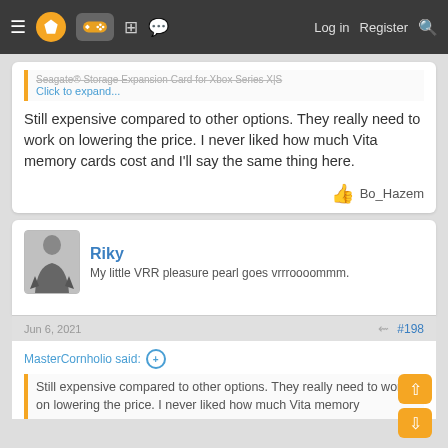Navigation bar with menu, logo, controller icon, grid icon, chat icon, Log in, Register, Search
Seagate® Storage Expansion Card for Xbox Series X|S
Click to expand...
Still expensive compared to other options. They really need to work on lowering the price. I never liked how much Vita memory cards cost and I'll say the same thing here.
👍 Bo_Hazem
Riky
My little VRR pleasure pearl goes vrrroooommm.
Jun 6, 2021
#198
MasterCornholio said: ⊕
Still expensive compared to other options. They really need to work on lowering the price. I never liked how much Vita memory